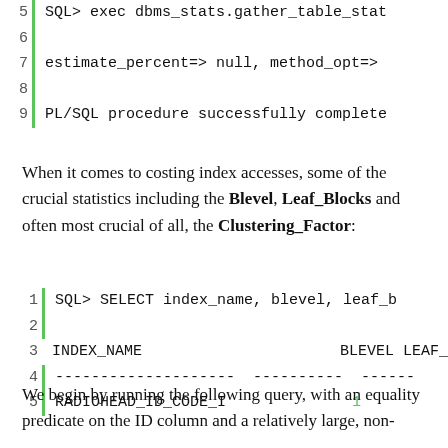SQL> exec dbms_stats.gather_table_stat estimate_percent=> null, method_opt=> PL/SQL procedure successfully complete
When it comes to costing index accesses, some of the crucial statistics including the Blevel, Leaf_Blocks and often most crucial of all, the Clustering_Factor:
SQL> SELECT index_name, blevel, leaf_b INDEX_NAME BLEVEL LEAF_B -------------------- ---------- ------ RADIOHEAD_ID_CODE_I 1
We begin by running the following query, with an equality predicate on the ID column and a relatively large, non-